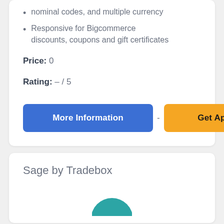nominal codes, and multiple currency
Responsive for Bigcommerce discounts, coupons and gift certificates
Price: 0
Rating: - / 5
More Information - Get App
Sage by Tradebox